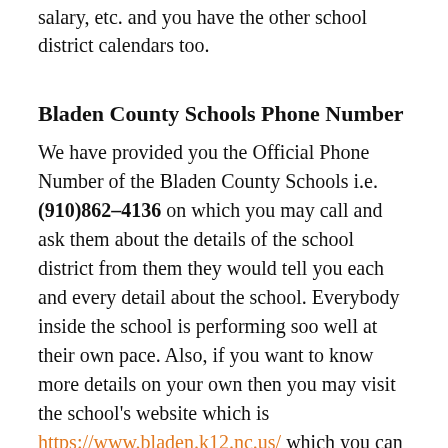salary, etc. and you have the other school district calendars too.
Bladen County Schools Phone Number
We have provided you the Official Phone Number of the Bladen County Schools i.e. (910)862-4136 on which you may call and ask them about the details of the school district from them they would tell you each and every detail about the school. Everybody inside the school is performing soo well at their own pace. Also, if you want to know more details on your own then you may visit the school's website which is https://www.bladen.k12.nc.us/ which you can visit anytime and take the information out of